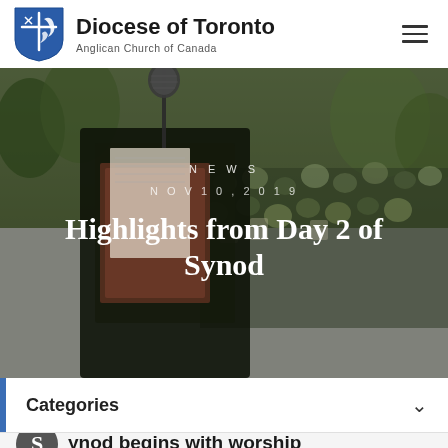Diocese of Toronto — Anglican Church of Canada
[Figure (photo): Outdoor worship service scene with a microphone and lectern in foreground, seated congregation in background among trees]
NEWS
NOV 10, 2019
Highlights from Day 2 of Synod
Categories
ynod begins with worship